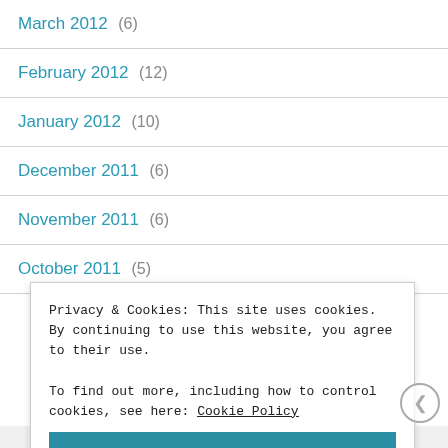March 2012 (6)
February 2012 (12)
January 2012 (10)
December 2011 (6)
November 2011 (6)
October 2011 (5)
Privacy & Cookies: This site uses cookies. By continuing to use this website, you agree to their use.
To find out more, including how to control cookies, see here: Cookie Policy
Close and accept